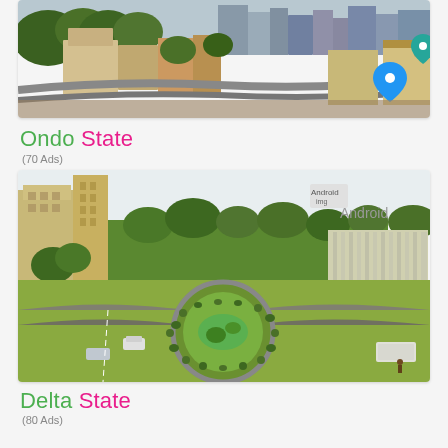[Figure (photo): Aerial view of a Nigerian city with buildings, trees and map location pins]
Ondo State
(70 Ads)
[Figure (photo): Aerial view of a Nigerian city roundabout with green landscaping, cars, and Android app badge overlay]
Delta State
(80 Ads)